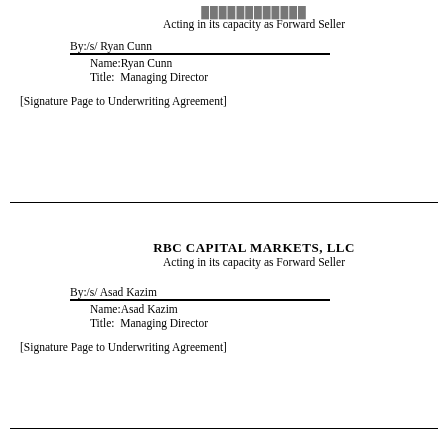Acting in its capacity as Forward Seller
By:/s/ Ryan Cunn
Name:Ryan Cunn
Title:  Managing Director
[Signature Page to Underwriting Agreement]
RBC CAPITAL MARKETS, LLC
Acting in its capacity as Forward Seller
By:/s/ Asad Kazim
Name:Asad Kazim
Title:  Managing Director
[Signature Page to Underwriting Agreement]